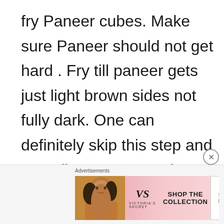fry Paneer cubes. Make sure Paneer should not get hard . Fry till paneer gets just light brown sides not fully dark. One can definitely skip this step and  use direct paneer cubes as generally we get in all dhaba and
[Figure (other): Advertisement banner for Victoria's Secret showing a model and text 'SHOP THE COLLECTION' with a 'SHOP NOW' button]
Advertisements